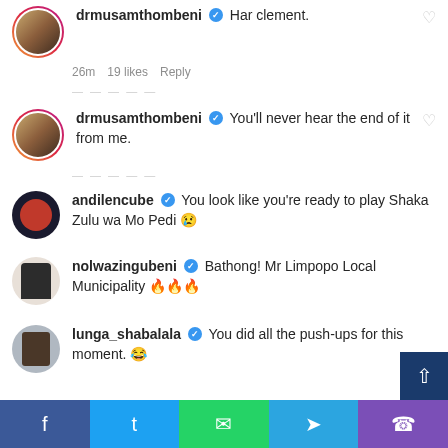drmusamthombeni: Har clement.
26m  19 likes  Reply
drmusamthombeni: You'll never hear the end of it from me.
andilencube: You look like you're ready to play Shaka Zulu wa Mo Pedi 😢
nolwazingubeni: Bathong! Mr Limpopo Local Municipality 🔥🔥🔥
lunga_shabalala: You did all the push-ups for this moment. 😂
Facebook | Twitter | WhatsApp | Telegram | Phone